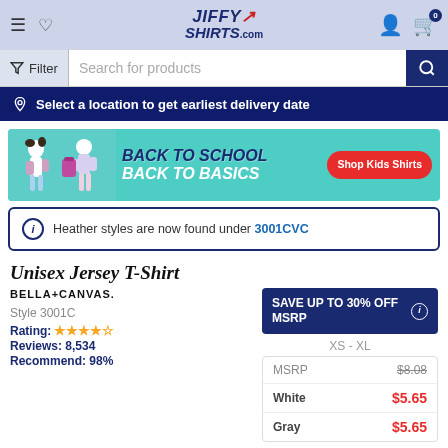JiffyShirts.com
Filter  Search for products
Select a location to get earliest delivery date
[Figure (infographic): Back to School Back to Basics promotional banner with Shop Kids Shirts button and two children with backpacks on teal background]
Heather styles are now found under 3001CVC
Unisex Jersey T-Shirt
BELLA+CANVAS
SAVE UP TO 30% OFF MSRP
Style 3001C
XS - XL
Rating: ★★★★½
Reviews: 8,534
Recommend: 98%
| Color | Price |
| --- | --- |
| MSRP | $8.08 |
| White | $5.65 |
| Gray | $5.65 |